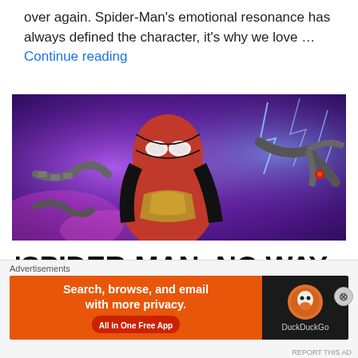over again. Spider-Man's emotional resonance has always defined the character, it's why we love … Continue reading
[Figure (illustration): Spider-Man in red and black suit against purple/blue energy background with mechanical arms visible]
'SPIDER-MAN: NO WAY HOME': FIRST IMPRESSIONS!
Advertisements
[Figure (screenshot): DuckDuckGo advertisement banner: Search, browse, and email with more privacy. All in One Free App]